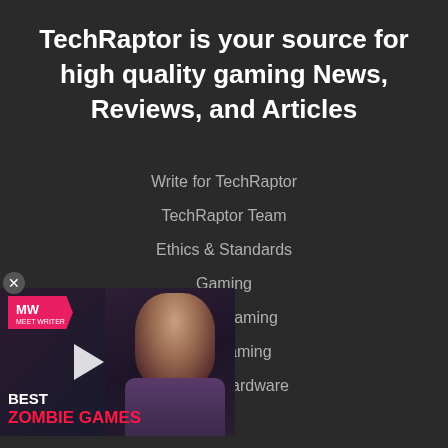TechRaptor is your source for high quality gaming News, Reviews, and Articles
Write for TechRaptor
TechRaptor Team
Ethics & Standards
Gaming
Mobile Gaming
Indie Gaming
Gaming Hardware
[Figure (screenshot): Video ad overlay for 'Best Zombie Games' with MW branding, a female character in the background, and a play button in the center. A close button (X) appears in the top-left corner of the overlay.]